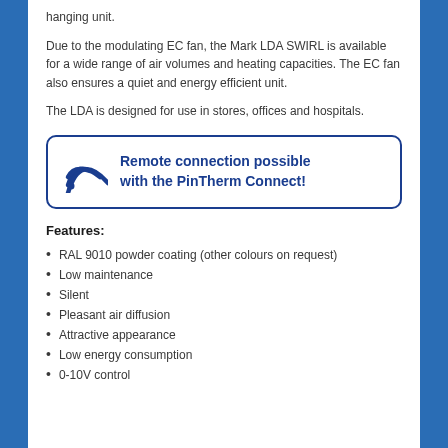hanging unit.
Due to the modulating EC fan, the Mark LDA SWIRL is available for a wide range of air volumes and heating capacities. The EC fan also ensures a quiet and energy efficient unit.
The LDA is designed for use in stores, offices and hospitals.
[Figure (infographic): Banner with WiFi/remote connection icon and text: Remote connection possible with the PinTherm Connect!]
Features:
RAL 9010 powder coating (other colours on request)
Low maintenance
Silent
Pleasant air diffusion
Attractive appearance
Low energy consumption
0-10V control